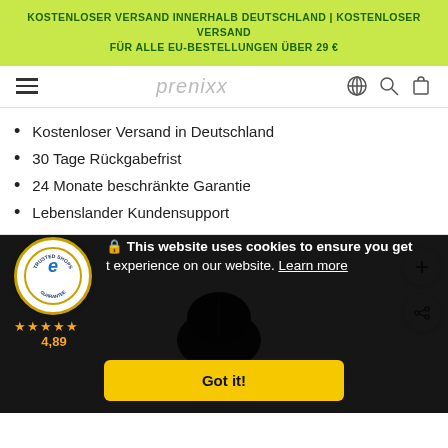KOSTENLOSER VERSAND INNERHALB DEUTSCHLAND | KOSTENLOSER VERSAND FÜR ALLE EU-BESTELLUNGEN ÜBER 29 €
[Figure (logo): Prenixx logo and navigation bar with hamburger menu, logo, globe, search, and cart icons]
Kostenloser Versand in Deutschland
30 Tage Rückgabefrist
24 Monate beschränkte Garantie
Lebenslanger Kundensupport
[Figure (photo): Product photo area showing a dark computer mouse on a light gray background, with zoom (+) and share buttons on the right side]
🔒 This website uses cookies to ensure you get the best experience on our website. Learn more
[Figure (logo): Trusted Shops badge with 'e' logo and Guarantee text, 4.89 rating with 5 gold stars]
Got it!